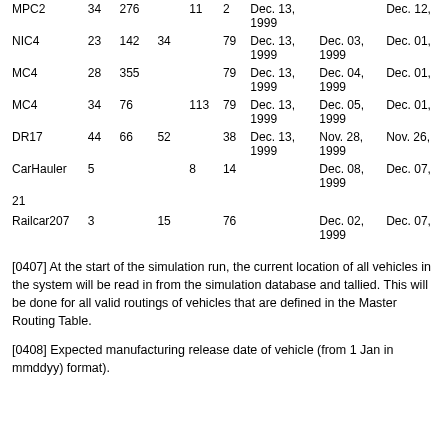| MPC2 | 34 | 276 |  | 11 | 2 | Dec. 13, 1999 |  | Dec. 12, |
| NIC4 | 23 | 142 | 34 |  | 79 | Dec. 13, 1999 | Dec. 03, 1999 | Dec. 01, |
| MC4 | 28 | 355 |  |  | 79 | Dec. 13, 1999 | Dec. 04, 1999 | Dec. 01, |
| MC4 | 34 | 76 |  | 113 | 79 | Dec. 13, 1999 | Dec. 05, 1999 | Dec. 01, |
| DR17 | 44 | 66 | 52 |  | 38 | Dec. 13, 1999 | Nov. 28, 1999 | Nov. 26, |
| CarHauler | 5 |  |  | 8 | 14 |  | Dec. 08, 1999 | Dec. 07, |
| 21 |  |  |  |  |  |  |  |  |
| Railcar207 | 3 |  | 15 |  | 76 |  | Dec. 02, 1999 | Dec. 07, |
[0407] At the start of the simulation run, the current location of all vehicles in the system will be read in from the simulation database and tallied. This will be done for all valid routings of vehicles that are defined in the Master Routing Table.
[0408] Expected manufacturing release date of vehicle (from 1 Jan in mmddyy) format).